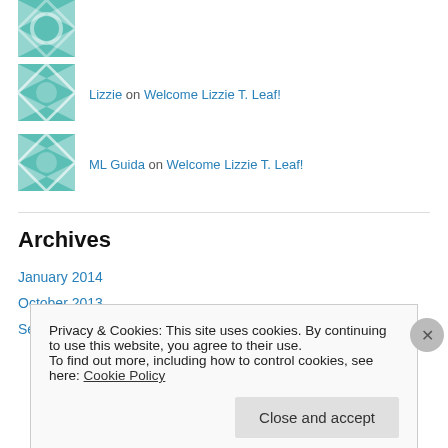[Figure (illustration): Teal and white quilt-pattern avatar icon (partial, top of page)]
Lizzie on Welcome Lizzie T. Leaf!
[Figure (illustration): Teal and white quilt-pattern avatar icon for Lizzie]
ML Guida on Welcome Lizzie T. Leaf!
[Figure (illustration): Teal and white quilt-pattern avatar icon for ML Guida]
Archives
January 2014
October 2013
September 2013
Privacy & Cookies: This site uses cookies. By continuing to use this website, you agree to their use.
To find out more, including how to control cookies, see here: Cookie Policy